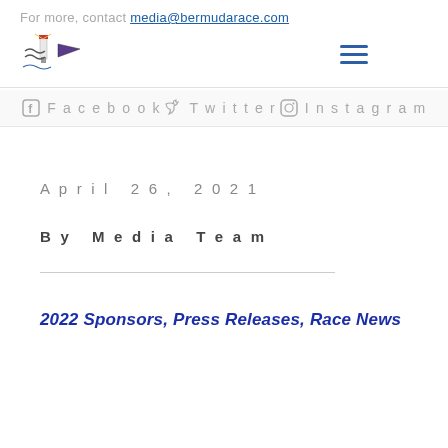For more, contact media@bermudarace.com
[Figure (logo): Newport Bermuda Race logo with lighthouse and two pennants]
[Figure (other): Hamburger menu icon (three horizontal lines)]
Facebook   Twitter   Instagram
April 26, 2021
By Media Team
2022 Sponsors, Press Releases, Race News